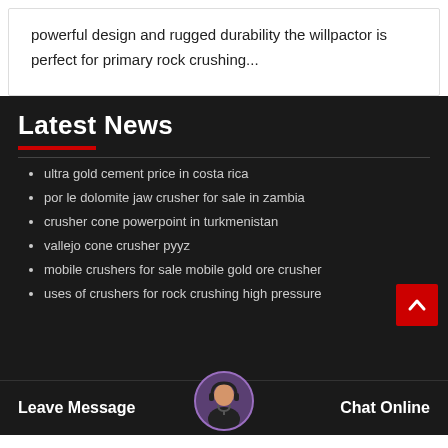powerful design and rugged durability the willpactor is perfect for primary rock crushing...
Latest News
ultra gold cement price in costa rica
por le dolomite jaw crusher for sale in zambia
crusher cone powerpoint in turkmenistan
vallejo cone crusher pyyz
mobile crushers for sale mobile gold ore crusher
uses of crushers for rock crushing high pressure
Leave Message  Chat Online